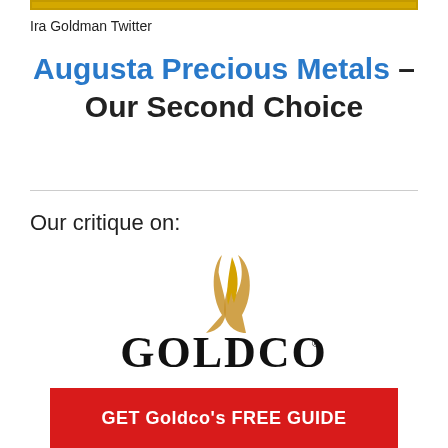[Figure (other): Gold/yellow horizontal bar at top of page]
Ira Goldman Twitter
Augusta Precious Metals – Our Second Choice
Our critique on:
[Figure (logo): Goldco logo — stylized golden flame above bold serif GOLDCO text with registered trademark symbol]
[Figure (other): Red call-to-action button: GET Goldco's FREE GUIDE]